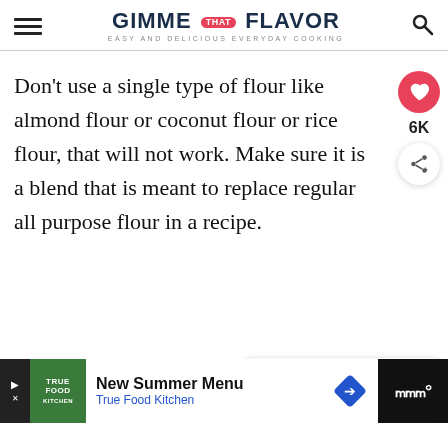GIMME THAT FLAVOR — EASY AND DELICIOUS EVERYDAY COOKING
Don't use a single type of flour like almond flour or coconut flour or rice flour, that will not work. Make sure it is a blend that is meant to replace regular all purpose flour in a recipe.
[Figure (infographic): Social sidebar with heart/like button showing 6K likes and a share button]
[Figure (infographic): What's Next card showing The Best Chocolate... with a circular food photo]
[Figure (infographic): Advertisement bar: True Food Kitchen New Summer Menu with navigation arrow and diamond icon]